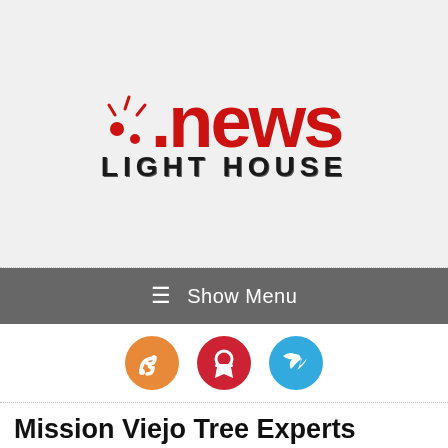[Figure (logo): News Light House logo with red '.news' text and black 'LIGHT HOUSE' subtitle, with decorative dots on the left]
≡ Show Menu
[Figure (infographic): Three circular social media icon buttons: RSS (orange), Pinterest (red), Twitter (blue)]
Mission Viejo Tree Experts Rents A Crane